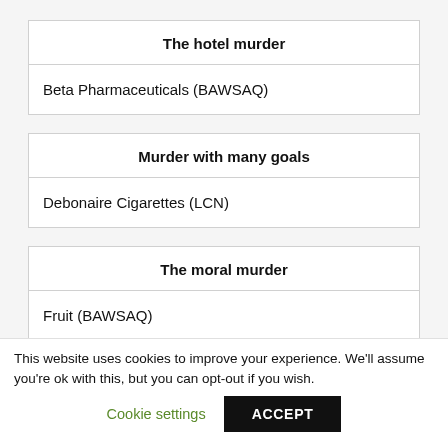| The hotel murder |
| --- |
| Beta Pharmaceuticals (BAWSAQ) |
| Murder with many goals |
| --- |
| Debonaire Cigarettes (LCN) |
| The moral murder |
| --- |
| Fruit (BAWSAQ) |
This website uses cookies to improve your experience. We'll assume you're ok with this, but you can opt-out if you wish.
Cookie settings
ACCEPT